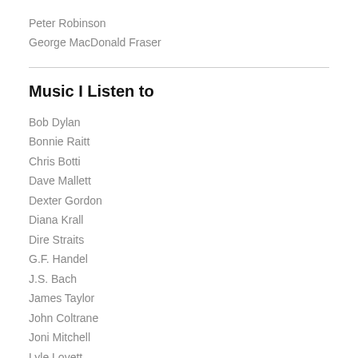Peter Robinson
George MacDonald Fraser
Music I Listen to
Bob Dylan
Bonnie Raitt
Chris Botti
Dave Mallett
Dexter Gordon
Diana Krall
Dire Straits
G.F. Handel
J.S. Bach
James Taylor
John Coltrane
Joni Mitchell
Lyle Lovett